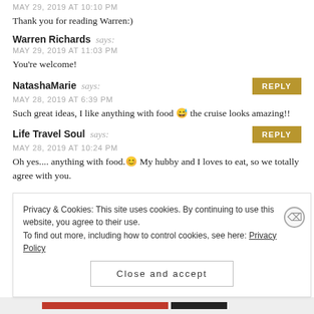MAY 29, 2019 AT 10:10 PM (partial, cut off at top)
Thank you for reading Warren:)
Warren Richards says:
MAY 29, 2019 AT 11:03 PM
You're welcome!
NatashaMarie says:
MAY 28, 2019 AT 6:39 PM
Such great ideas, I like anything with food 😅 the cruise looks amazing!!
Life Travel Soul says:
MAY 28, 2019 AT 10:24 PM
Oh yes.... anything with food.😊 My hubby and I loves to eat, so we totally agree with you.
Privacy & Cookies: This site uses cookies. By continuing to use this website, you agree to their use.
To find out more, including how to control cookies, see here: Privacy Policy
Close and accept